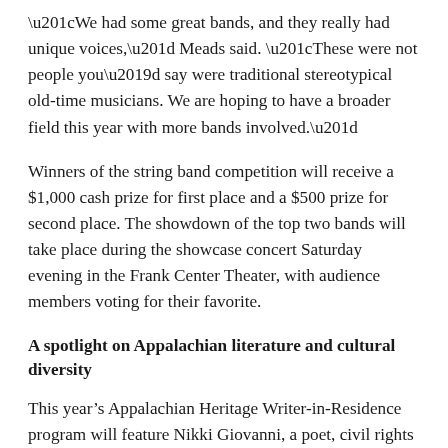“We had some great bands, and they really had unique voices,” Meads said. “These were not people you’d say were traditional stereotypical old-time musicians. We are hoping to have a broader field this year with more bands involved.”
Winners of the string band competition will receive a $1,000 cash prize for first place and a $500 prize for second place. The showdown of the top two bands will take place during the showcase concert Saturday evening in the Frank Center Theater, with audience members voting for their favorite.
A spotlight on Appalachian literature and cultural diversity
This year’s Appalachian Heritage Writer-in-Residence program will feature Nikki Giovanni, a poet, civil rights activist, and distinguished professor of English at Virginia Tech University. Giovanni’s poetry earned her seven NAACP Image Awards. She